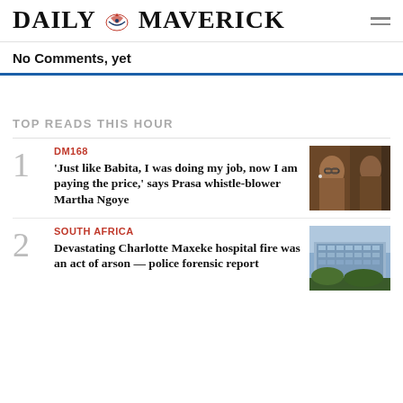DAILY MAVERICK
No Comments, yet
TOP READS THIS HOUR
DM168
'Just like Babita, I was doing my job, now I am paying the price,' says Prasa whistle-blower Martha Ngoye
[Figure (photo): Portrait photo of Martha Ngoye, a woman with glasses and short hair]
SOUTH AFRICA
Devastating Charlotte Maxeke hospital fire was an act of arson — police forensic report
[Figure (photo): Aerial or wide-angle photo of Charlotte Maxeke hospital building]